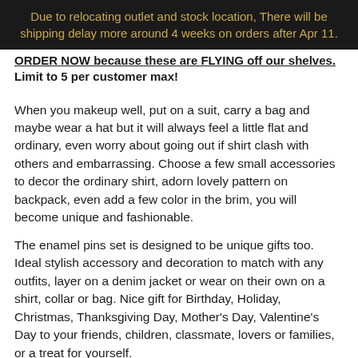Due to relocating outlet and stock location, There will be shipping delay more around 4 weeks on orders after Apr 11.
ORDER NOW because these are FLYING off our shelves. Limit to 5 per customer max!
When you makeup well, put on a suit, carry a bag and maybe wear a hat but it will always feel a little flat and ordinary, even worry about going out if shirt clash with others and embarrassing. Choose a few small accessories to decor the ordinary shirt, adorn lovely pattern on backpack, even add a few color in the brim, you will become unique and fashionable.
The enamel pins set is designed to be unique gifts too. Ideal stylish accessory and decoration to match with any outfits, layer on a denim jacket or wear on their own on a shirt, collar or bag. Nice gift for Birthday, Holiday, Christmas, Thanksgiving Day, Mother's Day, Valentine's Day to your friends, children, classmate, lovers or families, or a treat for yourself.
Material: Zinc Alloy
Size: see picture